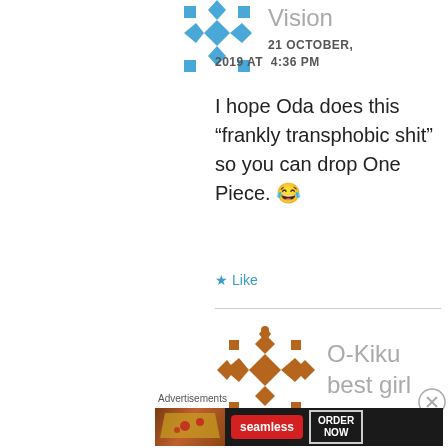[Figure (logo): Blue geometric diamond/cross pattern avatar for user 'Vision']
Vision
21 OCTOBER, 2019 AT 4:36 PM
I hope Oda does this “frankly transphobic shit” so you can drop One Piece. 😂
★ Like
[Figure (logo): Brown geometric diamond/cross pattern avatar for user 'O-Kiku best girl']
O-Kiku best girl
Advertisements
[Figure (screenshot): Seamless food ordering advertisement banner with pizza image, seamless logo, and ORDER NOW button]